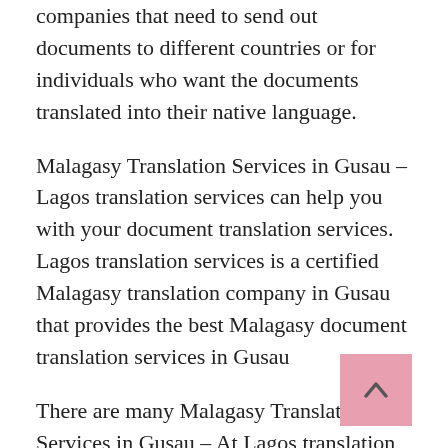companies that need to send out documents to different countries or for individuals who want the documents translated into their native language.
Malagasy Translation Services in Gusau – Lagos translation services can help you with your document translation services. Lagos translation services is a certified Malagasy translation company in Gusau that provides the best Malagasy document translation services in Gusau
There are many Malagasy Translation Services in Gusau – At Lagos translation services, we understand how important it is for your customer's document to be translated accurately and on time! We provide you with quality Malagasy document translation services at affordable rates so you don't have to worry about anything!
The rise in demand for Malagasy translation services in Gusau has been a result of the language's increased popularity. This is partly because of improved education